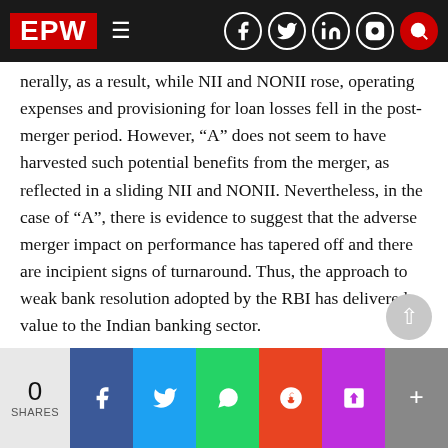EPW — Economic and Political Weekly navigation bar
nerally, as a result, while NII and NONII rose, operating expenses and provisioning for loan losses fell in the post-merger period. However, “A” does not seem to have harvested such potential benefits from the merger, as reflected in a sliding NII and NONII. Nevertheless, in the case of “A”, there is evidence to suggest that the adverse merger impact on performance has tapered off and there are incipient signs of turnaround. Thus, the approach to weak bank resolution adopted by the RBI has delivered value to the Indian banking sector.
SAMEEKSHA TRUST BOOKS
0 SHARES | Facebook | Twitter | WhatsApp | Reddit | Pocket | More